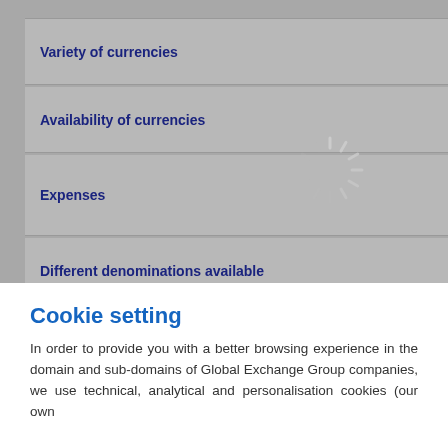| Feature |  | Description |
| --- | --- | --- |
| Variety of currencies | ▶ | 35. We are spec |
| Availability of currencies | ▶ | Ever ready, imm |
| Expenses | ▶ | Only the excha charges, and if price. |
| Different denominations available | ▶ | Of course! We c you travel abro. |
| Delivery options | ▶ | Collect at the ai all about comfo |
Cookie setting
In order to provide you with a better browsing experience in the domain and sub-domains of Global Exchange Group companies, we use technical, analytical and personalisation cookies (our own